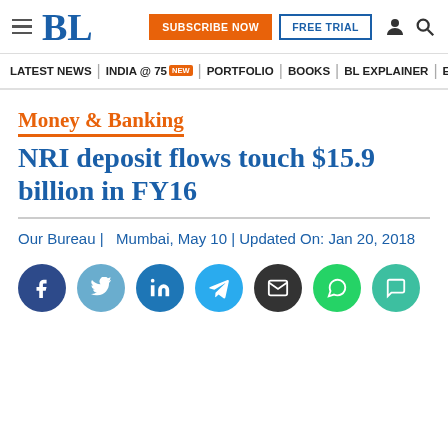BL | SUBSCRIBE NOW | FREE TRIAL
LATEST NEWS | INDIA @ 75 NEW | PORTFOLIO | BOOKS | BL EXPLAINER | ECONOMY | AGR
Money & Banking
NRI deposit flows touch $15.9 billion in FY16
Our Bureau |  Mumbai, May 10 | Updated On: Jan 20, 2018